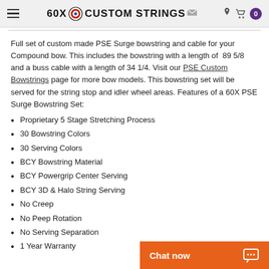60X CUSTOM STRINGS
Full set of custom made PSE Surge bowstring and cable for your Compound bow. This includes the bowstring with a length of 89 5/8 and a buss cable with a length of 34 1/4. Visit our PSE Custom Bowstrings page for more bow models. This bowstring set will be served for the string stop and idler wheel areas. Features of a 60X PSE Surge Bowstring Set:
Proprietary 5 Stage Stretching Process
30 Bowstring Colors
30 Serving Colors
BCY Bowstring Material
BCY Powergrip Center Serving
BCY 3D & Halo String Serving
No Creep
No Peep Rotation
No Serving Separation
1 Year Warranty